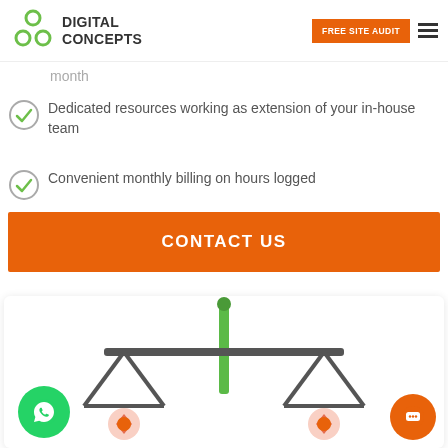DIGITAL CONCEPTS — FREE SITE AUDIT
month
Dedicated resources working as extension of your in-house team
Convenient monthly billing on hours logged
CONTACT US
[Figure (illustration): Balance scales illustration with green center pole and two hanging pans, each containing a pink/red award ribbon icon. WhatsApp green circle button on the bottom-left and an orange chat circle button on the bottom-right.]